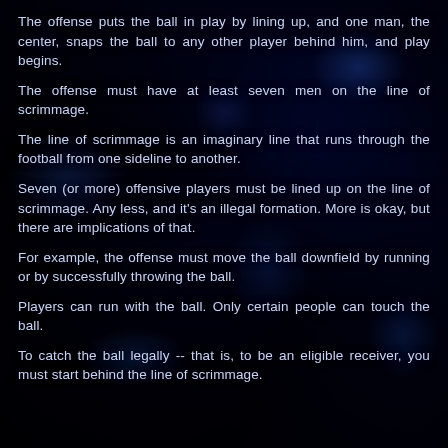The offense puts the ball in play by lining up, and one man, the center, snaps the ball to any other player behind him, and play begins.
The offense must have at least seven men on the line of scrimmage.
The line of scrimmage is an imaginary line that runs through the football from one sideline to another.
Seven (or more) offensive players must be lined up on the line of scrimmage. Any less, and it's an illegal formation. More is okay, but there are implications of that.
For example, the offense must move the ball downfield by running or by successfully throwing the ball.
Players can run with the ball. Only certain people can touch the ball.
To catch the ball legally -- that is, to be an eligible receiver, you must start behind the line of scrimmage.